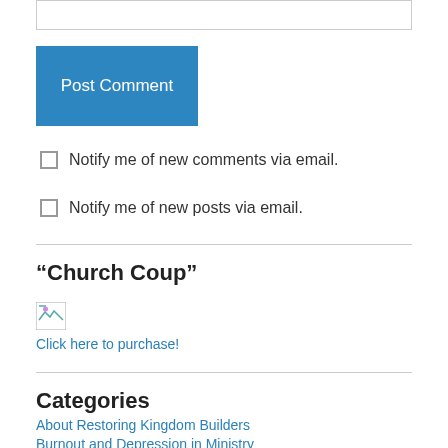[Figure (other): Input text box (form field)]
Post Comment
Notify me of new comments via email.
Notify me of new posts via email.
“Church Coup”
[Figure (other): Broken image thumbnail]
Click here to purchase!
Categories
About Restoring Kingdom Builders
Burnout and Depression in Ministry